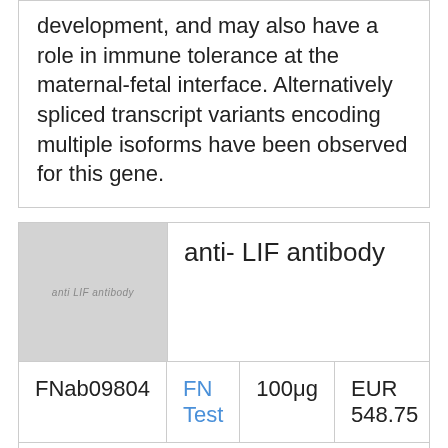development, and may also have a role in immune tolerance at the maternal-fetal interface. Alternatively spliced transcript variants encoding multiple isoforms have been observed for this gene.
[Figure (photo): Placeholder image for anti-LIF antibody product listing, showing gray box with text 'anti LIF antibody']
anti- LIF antibody
|  |  |  |  |
| --- | --- | --- | --- |
| FNab09804 | FN Test | 100μg | EUR 548.75 |
Description: Antibody raised against LIF
[Figure (photo): Placeholder image for second anti-LIF antibody product listing, showing gray box with text 'anti LIF antibody']
anti- LIF antibody